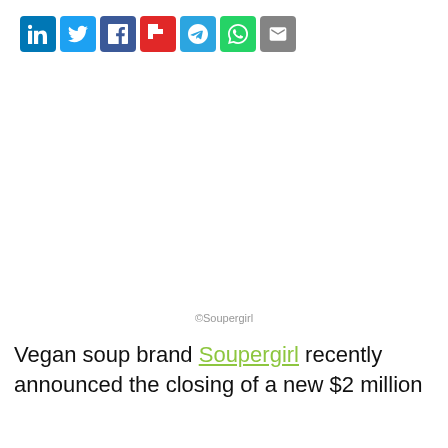[Figure (other): Social media share bar with icons: LinkedIn, Twitter, Facebook, Flipboard, Telegram, WhatsApp, Email]
[Figure (other): White image placeholder area with caption '©Soupergirl']
©Soupergirl
Vegan soup brand Soupergirl recently announced the closing of a new $2 million